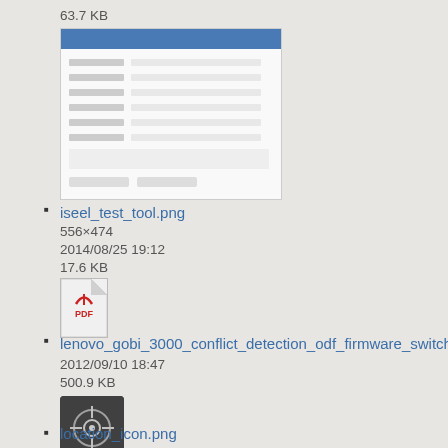63.7 KB
[Figure (screenshot): Thumbnail of iseel_test_tool.png showing a form interface with blue header]
iseel_test_tool.png
556×474
2014/08/25 19:12
17.6 KB
[Figure (illustration): PDF file icon thumbnail]
lenovo_gobi_3000_conflict_detection_odf_firmware_switcher_t
2012/09/10 18:47
500.9 KB
[Figure (illustration): Location icon - dark square with crosshair/target symbol]
location_icon.png
47×44
2013/08/21 20:16
1.8 KB